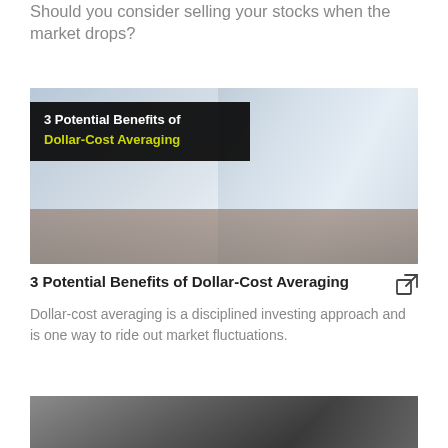Should you consider selling your stocks when the market drops?
[Figure (photo): Article thumbnail showing a woman with glasses working at a desk with papers and a tablet, with a dark banner overlay reading '3 Potential Benefits of Dollar-Cost Averaging']
3 Potential Benefits of Dollar-Cost Averaging
Dollar-cost averaging is a disciplined investing approach and is one way to ride out market fluctuations.
[Figure (photo): Partially visible article thumbnail at the bottom of the page, appears to show a grey/silver subject]